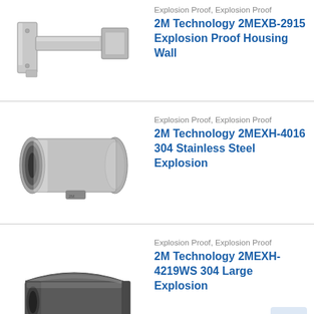[Figure (photo): Metal wall bracket / explosion proof housing wall mount, stainless steel L-shaped bracket with mounting plate]
Explosion Proof, Explosion Proof
2M Technology 2MEXB-2915 Explosion Proof Housing Wall
[Figure (photo): Cylindrical stainless steel explosion proof camera housing, silver metallic finish, 304 stainless steel]
Explosion Proof, Explosion Proof
2M Technology 2MEXH-4016 304 Stainless Steel Explosion
[Figure (photo): Large explosion proof camera housing, dark metallic finish, 304 stainless steel, large form factor]
Explosion Proof, Explosion Proof
2M Technology 2MEXH-4219WS 304 Large Explosion